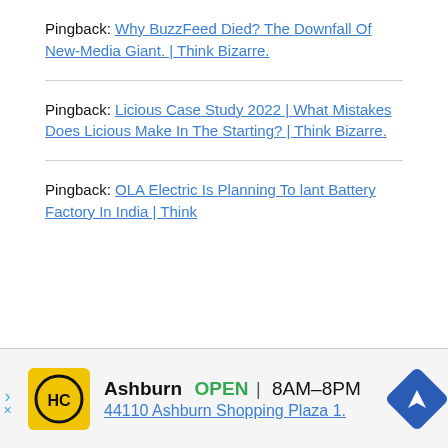Pingback: Why BuzzFeed Died? The Downfall Of New-Media Giant. | Think Bizarre.
Pingback: Licious Case Study 2022 | What Mistakes Does Licious Make In The Starting? | Think Bizarre.
Pingback: OLA Electric Is Planning To lant Battery Factory In India | Think
[Figure (other): Advertisement banner: HC logo (yellow background, black circular logo with HC text), Ashburn OPEN 8AM-8PM, 44110 Ashburn Shopping Plaza 1., navigation arrow icon]